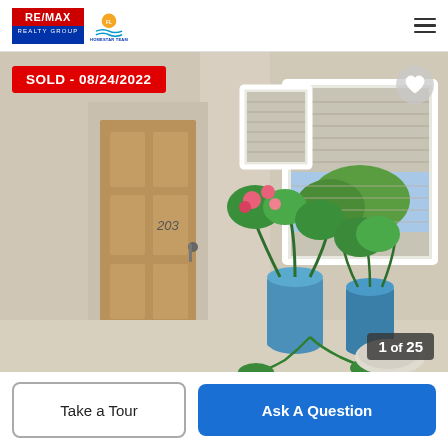RE/MAX REALTY GROUP | Florida Homestar Team
[Figure (photo): Front entrance of a property showing a brown door with number 203, white stucco exterior, shuttered windows, and two blue ceramic pots with plants including pink flowers on a covered porch with a gray doormat. SOLD badge dated 08/24/2022 in red. Image counter shows 1 of 25.]
SOLD - 08/24/2022
1 of 25
Take a Tour
Ask A Question